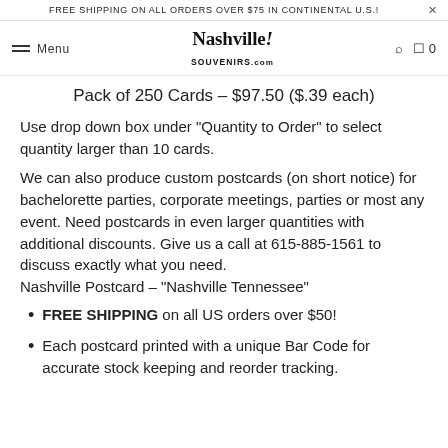FREE SHIPPING ON ALL ORDERS OVER $75 IN CONTINENTAL U.S.!
Menu  NashvilleSouvenirs.com  0
Pack of 250 Cards – $97.50 ($.39 each)
Use drop down box under "Quantity to Order" to select quantity larger than 10 cards.
We can also produce custom postcards (on short notice) for bachelorette parties, corporate meetings, parties or most any event. Need postcards in even larger quantities with additional discounts. Give us a call at 615-885-1561 to discuss exactly what you need.
Nashville Postcard – "Nashville Tennessee"
FREE SHIPPING on all US orders over $50!
Each postcard printed with a unique Bar Code for accurate stock keeping and reorder tracking.